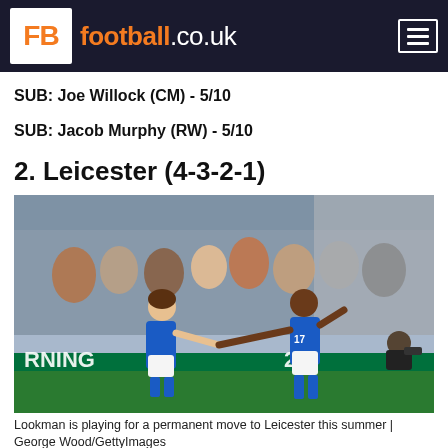FB football.co.uk
SUB: Joe Willock (CM) - 5/10
SUB: Jacob Murphy (RW) - 5/10
2. Leicester (4-3-2-1)
[Figure (photo): Two Leicester City players in blue kits celebrating on the pitch, with a crowd in the background including fans in black and white stripes (Newcastle supporters).]
Lookman is playing for a permanent move to Leicester this summer | George Wood/GettyImages